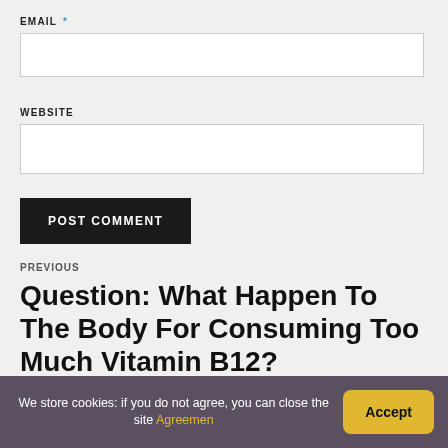EMAIL *
WEBSITE
POST COMMENT
PREVIOUS
Question: What Happen To The Body For Consuming Too Much Vitamin B12?
We store cookies: if you do not agree, you can close the site Agreemen  Accept